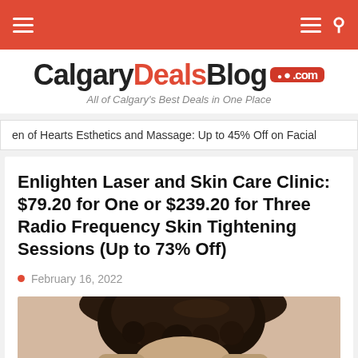CalgaryDealsBlog.com — Navigation bar
[Figure (logo): CalgaryDealsBlog.com logo with tagline 'All of Calgary's Best Deals in One Place']
en of Hearts Esthetics and Massage: Up to 45% Off on Facial
Enlighten Laser and Skin Care Clinic: $79.20 for One or $239.20 for Three Radio Frequency Skin Tightening Sessions (Up to 73% Off)
February 16, 2022
[Figure (photo): Photo of a person with curly dark hair, partial view from behind/side]